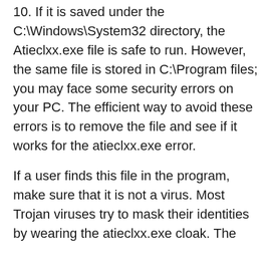10. If it is saved under the C:\Windows\System32 directory, the Atieclxx.exe file is safe to run. However, the same file is stored in C:\Program files; you may face some security errors on your PC. The efficient way to avoid these errors is to remove the file and see if it works for the atieclxx.exe error.
If a user finds this file in the program, make sure that it is not a virus. Most Trojan viruses try to mask their identities by wearing the atieclxx.exe cloak. The atieclxx.exe file can run in the background without being identified. This allows it to steal data and make changes to system files, registries, and start-up patterns.